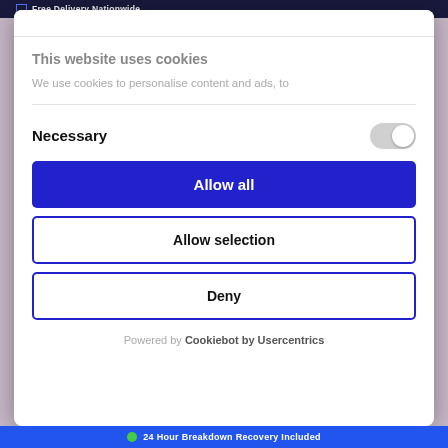Free Delivery Nationwide
This website uses cookies
We use cookies to personalise content and ads, to
Necessary
[Figure (other): Toggle switch in off/grey state]
Allow all
Allow selection
Deny
Powered by Cookiebot by Usercentrics
24 Hour Breakdown Recovery Included